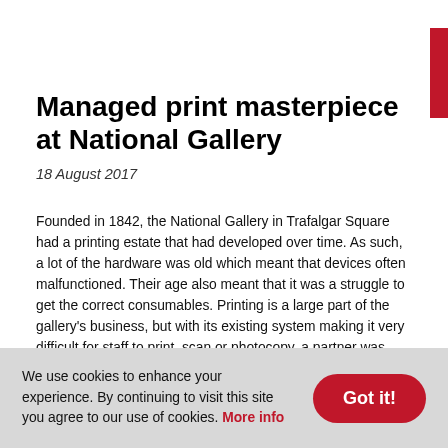Managed print masterpiece at National Gallery
18 August 2017
Founded in 1842, the National Gallery in Trafalgar Square had a printing estate that had developed over time. As such, a lot of the hardware was old which meant that devices often malfunctioned. Their age also meant that it was a struggle to get the correct consumables. Printing is a large part of the gallery's business, but with its existing system making it very difficult for staff to print, scan or photocopy, a partner was needed that could solve all the problems while ensuring only minimal disruption.

Based in Buckinghamshire, IT infrastructure specialist Softcat offers a
We use cookies to enhance your experience. By continuing to visit this site you agree to our use of cookies. More info